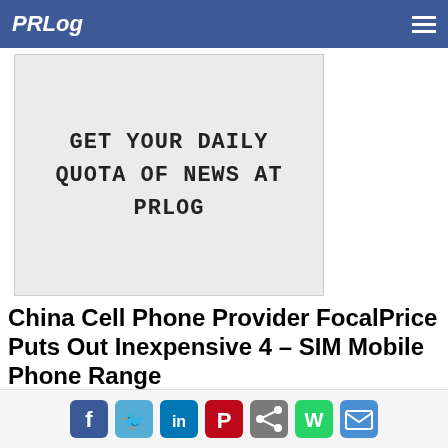PRLog
[Figure (other): Advertisement banner with text: GET YOUR DAILY QUOTA OF NEWS AT PRLOG in monospace font on light gray background]
China Cell Phone Provider FocalPrice Puts Out Inexpensive 4 – SIM Mobile Phone Range
China's top cell phone source, FocalPrice is rocking the market with the release of a quad band quad -SIM phone range priced at less than 90 dollars.
Feb. 19, 2011 - PRLog -- China cell phone provider FocalPrice (http://www.FocalPrice.com/Cell-Phonesgoods_59_1_c.html ) amazed the technology market recently by releasing a complete line of cutting edge 4 SIM WiFi cell phones for under 90 US dollars.
Social sharing icons: Facebook, Twitter, LinkedIn, Pinterest, Share, WhatsApp, Email